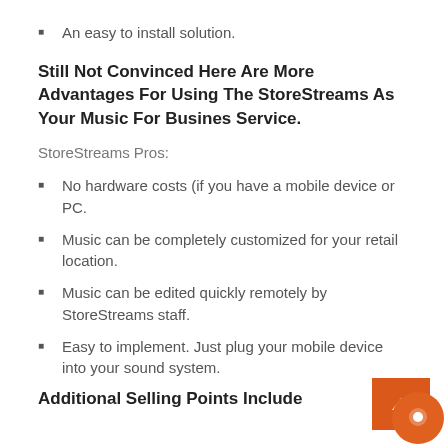An easy to install solution.
Still Not Convinced Here Are More Advantages For Using The StoreStreams As Your Music For Busines Service.
StoreStreams Pros:
No hardware costs (if you have a mobile device or PC.
Music can be completely customized for your retail location.
Music can be edited quickly remotely by StoreStreams staff.
Easy to implement. Just plug your mobile device into your sound system.
Additional Selling Points Include